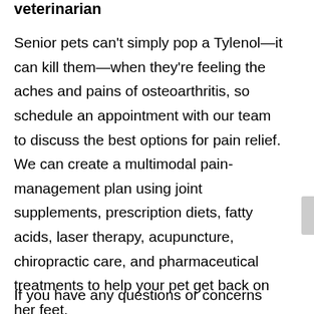veterinarian
Senior pets can't simply pop a Tylenol—it can kill them—when they're feeling the aches and pains of osteoarthritis, so schedule an appointment with our team to discuss the best options for pain relief. We can create a multimodal pain-management plan using joint supplements, prescription diets, fatty acids, laser therapy, acupuncture, chiropractic care, and pharmaceutical treatments to help your pet get back on her feet.
If you have any questions or concerns about